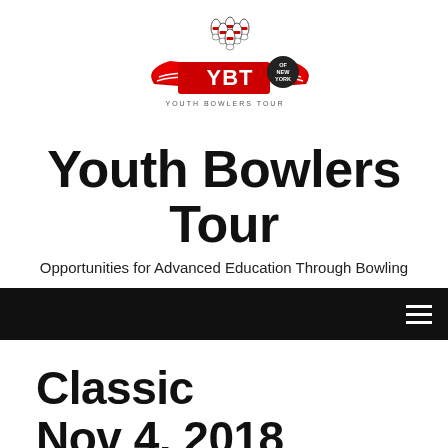[Figure (logo): YBT Youth Bowlers Tour of New York logo with bowling pins and red wings]
Youth Bowlers Tour
Opportunities for Advanced Education Through Bowling
Navigation bar with hamburger menu
Classic
Nov 4, 2018